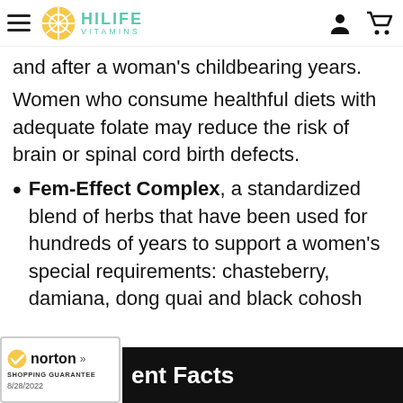HiLife Vitamins
and after a woman's childbearing years.
Women who consume healthful diets with adequate folate may reduce the risk of brain or spinal cord birth defects.
Fem-Effect Complex, a standardized blend of herbs that have been used for hundreds of years to support a women's special requirements: chasteberry, damiana, dong quai and black cohosh
ent Facts